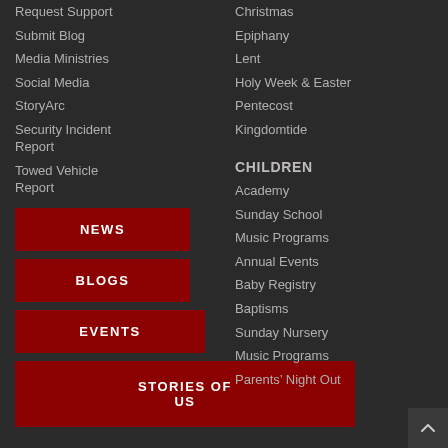Request Support
Submit Blog
Media Ministries
Social Media
StoryArc
Security Incident Report
Towed Vehicle Report
NEWS
BLOGS
EVENTS
STORIES OF US
Christmas
Epiphany
Lent
Holy Week & Easter
Pentecost
Kingdomtide
CHILDREN
Academy
Sunday School
Music Programs
Annual Events
Baby Registry
Baptisms
Sunday Nursery
Music Programs
Parents' Night Out